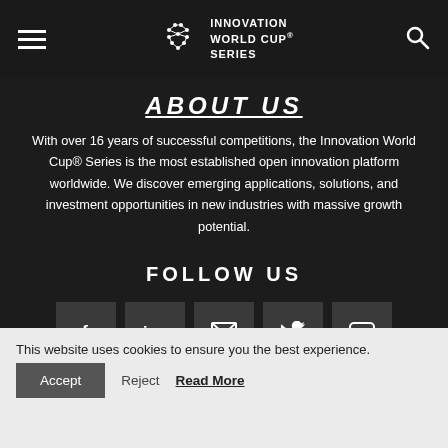Innovation World Cup Series
ABOUT US
With over 16 years of successful competitions, the Innovation World Cup® Series is the most established open innovation platform worldwide. We discover emerging applications, solutions, and investment opportunities in new industries with massive growth potential.
FOLLOW US
[Figure (other): Social media icons: Facebook, LinkedIn, Email, Twitter, YouTube]
This website uses cookies to ensure you the best experience.
Accept  Reject  Read More